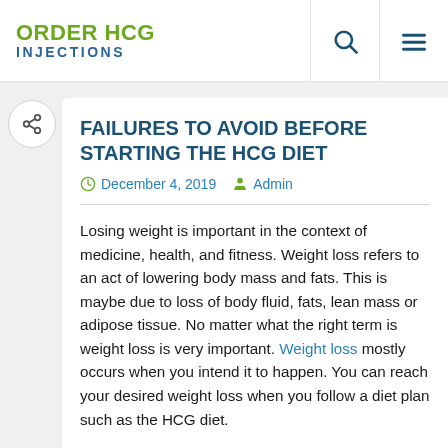ORDER HCG INJECTIONS
FAILURES TO AVOID BEFORE STARTING THE HCG DIET
December 4, 2019   Admin
Losing weight is important in the context of medicine, health, and fitness. Weight loss refers to an act of lowering body mass and fats. This is maybe due to loss of body fluid, fats, lean mass or adipose tissue. No matter what the right term is weight loss is very important. Weight loss mostly occurs when you intend it to happen. You can reach your desired weight loss when you follow a diet plan such as the HCG diet.